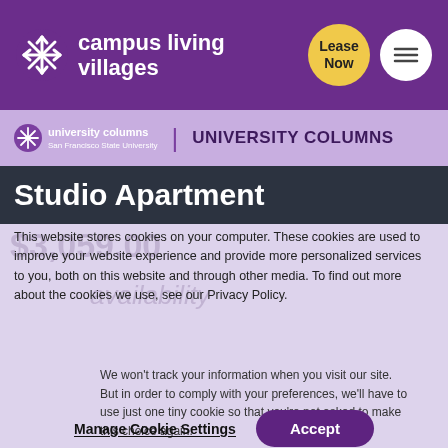campus living villages | Lease Now | Menu
UNIVERSITY COLUMNS
Studio Apartment
This website stores cookies on your computer. These cookies are used to improve your website experience and provide more personalized services to you, both on this website and through other media. To find out more about the cookies we use, see our Privacy Policy.
We won't track your information when you visit our site. But in order to comply with your preferences, we'll have to use just one tiny cookie so that you're not asked to make this choice again.
Manage Cookie Settings | Accept